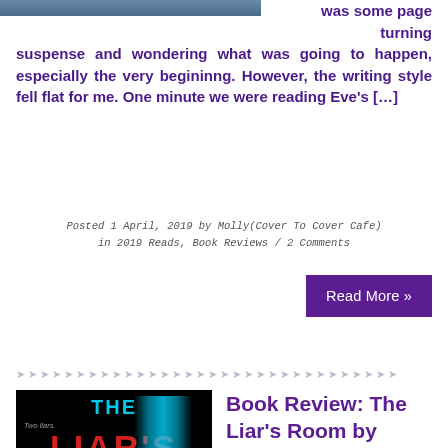[Figure (photo): Partial photo of a book cover at the top left, cropped]
was some page turning suspense and wondering what was going to happen, especially the very begininng. However, the writing style fell flat for me. One minute we were reading Eve's […]
Posted 1 April, 2019 by Molly(Cover To Cover Cafe) in 2019 Reads, Book Reviews / 2 Comments
Read More »
[Figure (illustration): Decorative arrow divider line]
[Figure (photo): Book cover of The Liar's Room by Simon Lelic — dark background with blue glowing light and red text]
Book Review: The Liar's Room by Simon Lelic
Simon Lelic is a new to me author and one I won't miss again. I found his style of writing captivating and unique